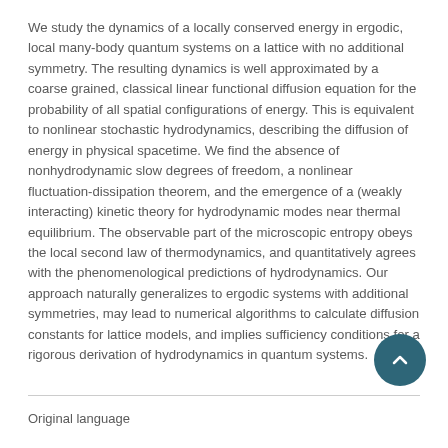We study the dynamics of a locally conserved energy in ergodic, local many-body quantum systems on a lattice with no additional symmetry. The resulting dynamics is well approximated by a coarse grained, classical linear functional diffusion equation for the probability of all spatial configurations of energy. This is equivalent to nonlinear stochastic hydrodynamics, describing the diffusion of energy in physical spacetime. We find the absence of nonhydrodynamic slow degrees of freedom, a nonlinear fluctuation-dissipation theorem, and the emergence of a (weakly interacting) kinetic theory for hydrodynamic modes near thermal equilibrium. The observable part of the microscopic entropy obeys the local second law of thermodynamics, and quantitatively agrees with the phenomenological predictions of hydrodynamics. Our approach naturally generalizes to ergodic systems with additional symmetries, may lead to numerical algorithms to calculate diffusion constants for lattice models, and implies sufficiency conditions for a rigorous derivation of hydrodynamics in quantum systems.
Original language